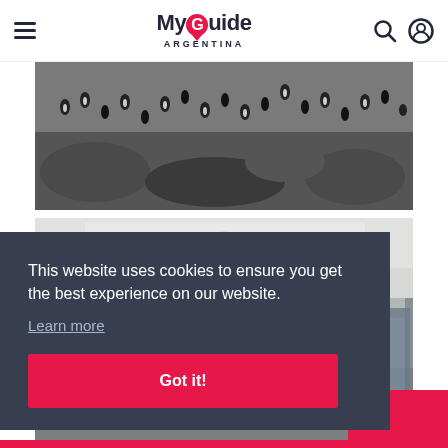MyGuide ARGENTINA
[Figure (photo): Black and white photo of penguins on rocky terrain, multiple birds clustered on rocks]
[Figure (photo): Interior of what appears to be a boat or vehicle cabin with white ceiling and metal poles/columns]
This website uses cookies to ensure you get the best experience on our website.
Learn more
Got it!